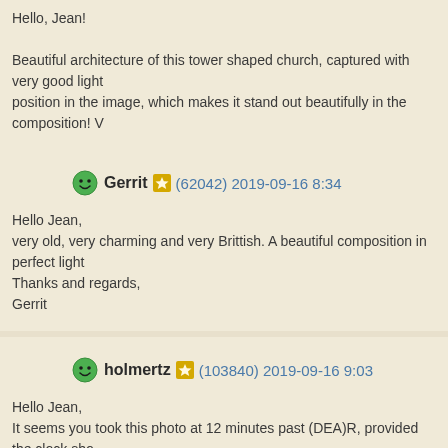Hello, Jean!

Beautiful architecture of this tower shaped church, captured with very good light position in the image, which makes it stand out beautifully in the composition! V
Gerrit (62042) 2019-09-16 8:34

Hello Jean,
very old, very charming and very Brittish. A beautiful composition in perfect light.
Thanks and regards,
Gerrit
holmertz (103840) 2019-09-16 9:03

Hello Jean,
It seems you took this photo at 12 minutes past (DEA)R, provided the clock sho detail, but even with a normal clock this would be a very beautiful church, and w English medieval church. There is a rather iconic graveyard too. The building is Both photos have very nice colours and light and the main photo is perfectly bal Best regards,
Gert
PaulVDV (63638) 2019-09-16 12:07